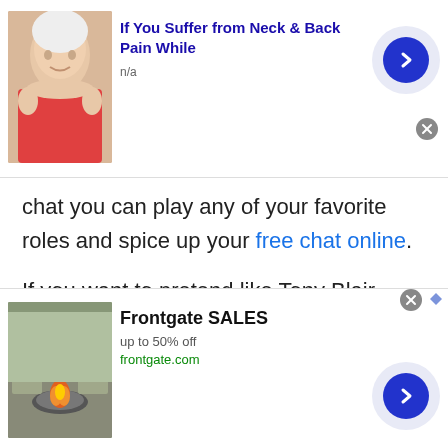[Figure (screenshot): Top advertisement banner: image of elderly woman touching her neck, with text 'If You Suffer from Neck & Back Pain While' in bold blue, 'n/a' below, a circular blue arrow button on the right, and a close X button.]
chat you can play any of your favorite roles and spice up your free chat online.
If you want to pretend like Tony Blair, Harry Potter or any cartoon character then start talking to strangers in Qatar without spending money. At TWS role-play chat you can go beyond your friend's expectations and keep them engaged for long. However, all you need is imaginative and powerful words as without focusing on your words you can't
[Figure (screenshot): Bottom advertisement banner: image of outdoor furniture with fire pit, with text 'Frontgate SALES', 'up to 50% off', 'frontgate.com', a circular blue arrow button on the right, and a close X button.]